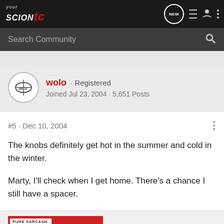your scion tC · NEW · Search Community
wolo · Registered
Joined Jul 23, 2004 · 5,651 Posts
#5 · Dec 10, 2004
The knobs definitely get hot in the summer and cold in the winter.

Marty, I'll check when I get home. There's a chance I still have a spacer.
[Figure (photo): Scion advertisement banner with 'PURE SARCASH.' text and a Scion car image on red background]